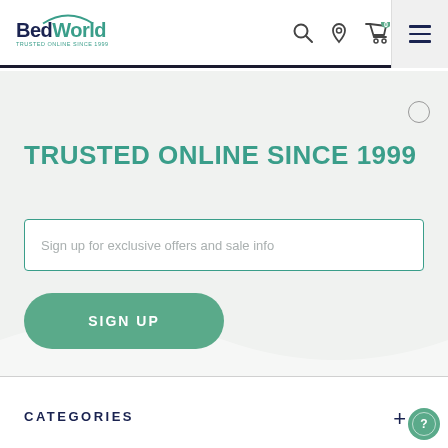BedWorld — Trusted Online Since 1999 — navigation header
TRUSTED ONLINE SINCE 1999
Sign up for exclusive offers and sale info
SIGN UP
CATEGORIES